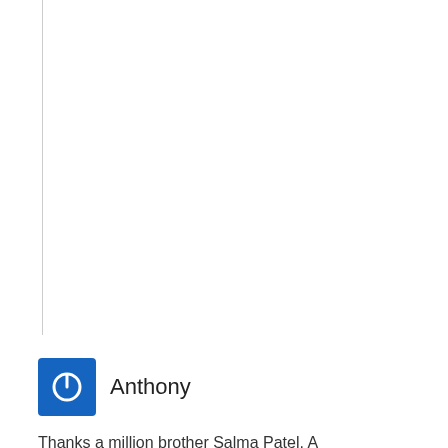[Figure (illustration): Blue square icon with a white power button symbol (circle with a line at top), representing a user avatar for Anthony]
Anthony
Thanks a million brother Salma Patel. A